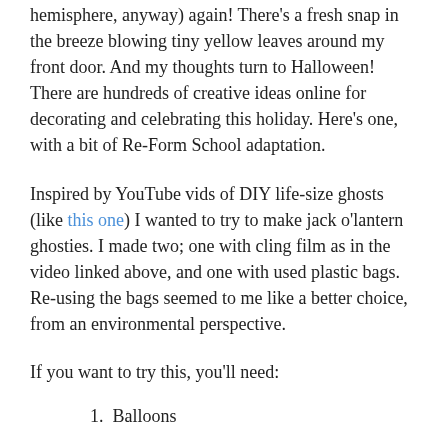hemisphere, anyway) again! There's a fresh snap in the breeze blowing tiny yellow leaves around my front door. And my thoughts turn to Halloween! There are hundreds of creative ideas online for decorating and celebrating this holiday. Here's one, with a bit of Re-Form School adaptation.
Inspired by YouTube vids of DIY life-size ghosts (like this one) I wanted to try to make jack o'lantern ghosties. I made two; one with cling film as in the video linked above, and one with used plastic bags. Re-using the bags seemed to me like a better choice, from an environmental perspective.
If you want to try this, you'll need:
1. Balloons